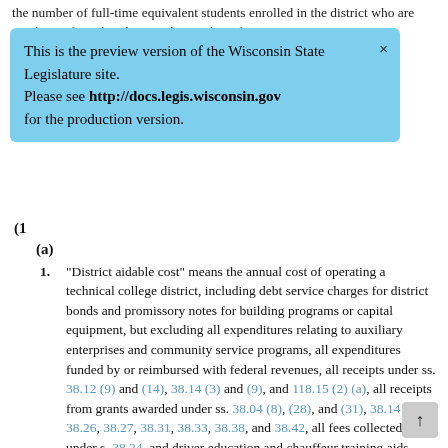the number of full-time equivalent students enrolled in the district who are residents of another district; the number of
This is the preview version of the Wisconsin State Legislature site. Please see http://docs.legis.wisconsin.gov for the production version.
(1
(a)
1. "District aidable cost" means the annual cost of operating a technical college district, including debt service charges for district bonds and promissory notes for building programs or capital equipment, but excluding all expenditures relating to auxiliary enterprises and community service programs, all expenditures funded by or reimbursed with federal revenues, all receipts under ss. 38.12 (9) and (14), 38.14 (3) and (9), and 118.15 (2) (a), all receipts from grants awarded under ss. 38.04 (8), (28), and (31), 38.14 (11), 38.26, 38.27, 38.31, 38.33, 38.38, and 38.42, all fees collected under s. 38.24, and driver education and chauffeur training aids.
2. "District aidable cost" for any district that does not have an institution or college campus located in the district does not include costs associated with the collegiate transfer program at the district school. In this subdivision, "institution" and "college campus" have the meaning specified under s. 36.05. This subdivision does not ap